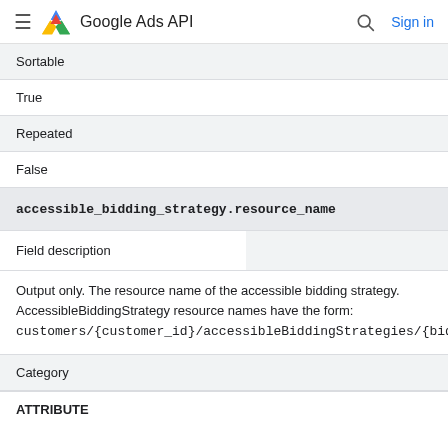Google Ads API  Sign in
| Sortable |
| True |
| Repeated |
| False |
| accessible_bidding_strategy.resource_name |
| Field description |  |
| Output only. The resource name of the accessible bidding strategy. AccessibleBiddingStrategy resource names have the form: customers/{customer_id}/accessibleBiddingStrategies/{bidding_id} |
| Category |
| ATTRIBUTE |